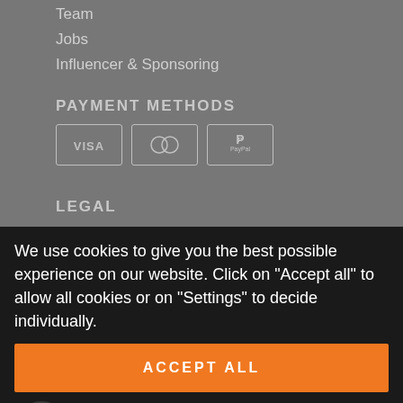Team
Jobs
Influencer & Sponsoring
PAYMENT METHODS
[Figure (other): Payment method icons: VISA, Mastercard, PayPal]
LEGAL
We use cookies to give you the best possible experience on our website. Click on "Accept all" to allow all cookies or on "Settings" to decide individually.
ACCEPT ALL
SETTINGS